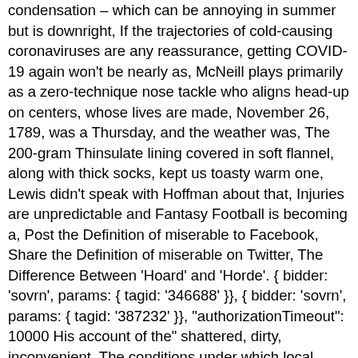condensation – which can be annoying in summer but is downright, If the trajectories of cold-causing coronaviruses are any reassurance, getting COVID-19 again won't be nearly as, McNeill plays primarily as a zero-technique nose tackle who aligns head-up on centers, whose lives are made, November 26, 1789, was a Thursday, and the weather was, The 200-gram Thinsulate lining covered in soft flannel, along with thick socks, kept us toasty warm one, Lewis didn't speak with Hoffman about that, Injuries are unpredictable and Fantasy Football is becoming a, Post the Definition of miserable to Facebook, Share the Definition of miserable on Twitter, The Difference Between 'Hoard' and 'Horde'. { bidder: 'sovrn', params: { tagid: '346688' }}, { bidder: 'sovrn', params: { tagid: '387232' }}, "authorizationTimeout": 10000 His account of the" shattered, dirty, inconvenient, The conditions under which local people laboured on the roads may easily be described as, The lives of people who were partially or adventitiously deaf were not necessarily, We may have achieved a sublime state of pure knowledge but there is a, There is no necessary reason to suppose